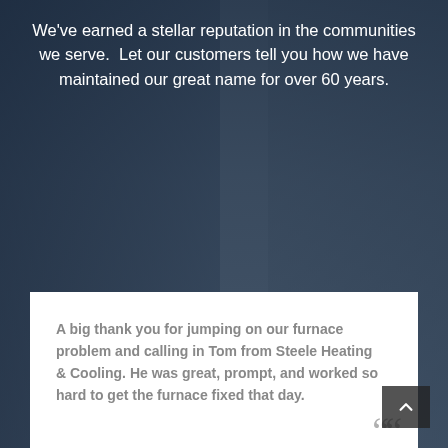We've earned a stellar reputation in the communities we serve.  Let our customers tell you how we have maintained our great name for over 60 years.
A big thank you for jumping on our furnace problem and calling in Tom from Steele Heating & Cooling. He was great, prompt, and worked so hard to get the furnace fixed that day.
Wynn Hausrath